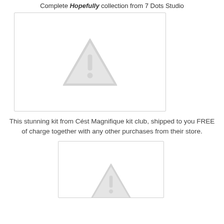Complete Hopefully collection from 7 Dots Studio
[Figure (illustration): Placeholder image box with a grey warning/exclamation triangle icon indicating a missing image]
This stunning kit from Cést Magnifique kit club, shipped to you FREE of charge together with any other purchases from their store.
[Figure (illustration): Second placeholder image box with a grey warning/exclamation triangle icon indicating a missing image, partially visible]